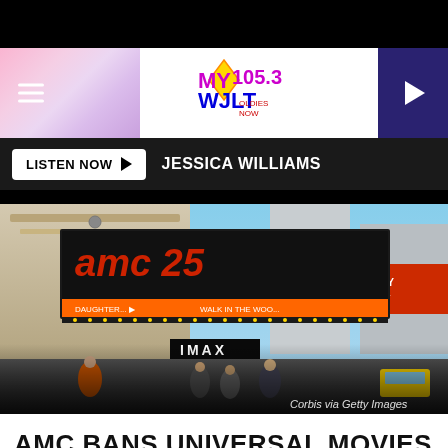MY 105.3 WJLT Radio - Now
LISTEN NOW ▶  JESSICA WILLIAMS
[Figure (photo): AMC 25 movie theater marquee in Times Square, New York, with IMAX sign visible. Street view with people and city buildings in background. Credit: Corbis via Getty Images]
AMC BANS UNIVERSAL MOVIES